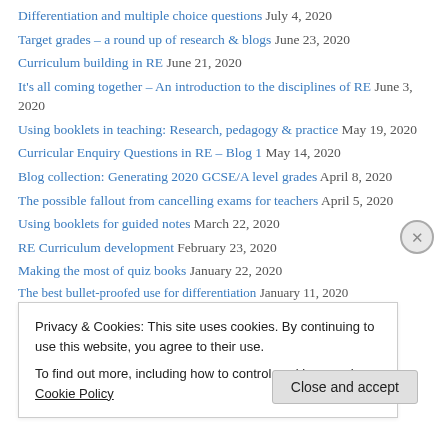Differentiation and multiple choice questions July 4, 2020
Target grades – a round up of research & blogs June 23, 2020
Curriculum building in RE June 21, 2020
It's all coming together – An introduction to the disciplines of RE June 3, 2020
Using booklets in teaching: Research, pedagogy & practice May 19, 2020
Curricular Enquiry Questions in RE – Blog 1 May 14, 2020
Blog collection: Generating 2020 GCSE/A level grades April 8, 2020
The possible fallout from cancelling exams for teachers April 5, 2020
Using booklets for guided notes March 22, 2020
RE Curriculum development February 23, 2020
Making the most of quiz books January 22, 2020
The best bullet-proofed use for differentiation January 11, 2020
Privacy & Cookies: This site uses cookies. By continuing to use this website, you agree to their use. To find out more, including how to control cookies, see here: Cookie Policy
Close and accept